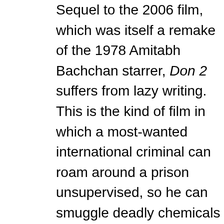Sequel to the 2006 film, which was itself a remake of the 1978 Amitabh Bachchan starrer, Don 2 suffers from lazy writing. This is the kind of film in which a most-wanted international criminal can roam around a prison unsupervised, so he can smuggle deadly chemicals into the premises, and poison the inmates' dinner.

There are ample car chases, explosions,